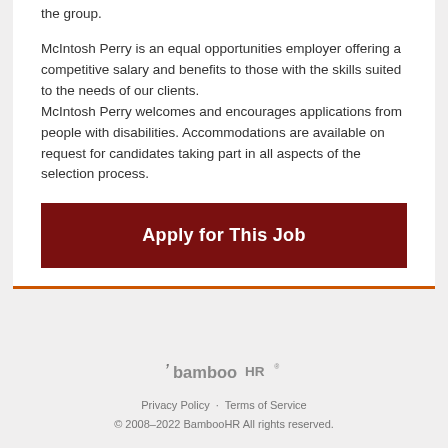the group.
McIntosh Perry is an equal opportunities employer offering a competitive salary and benefits to those with the skills suited to the needs of our clients.
McIntosh Perry welcomes and encourages applications from people with disabilities. Accommodations are available on request for candidates taking part in all aspects of the selection process.
Apply for This Job
[Figure (logo): BambooHR logo]
Privacy Policy · Terms of Service
© 2008–2022 BambooHR All rights reserved.